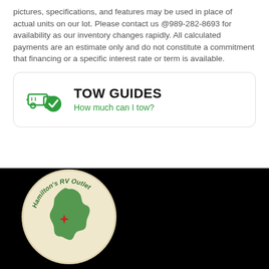pictures, specifications, and features may be used in place of actual units on our lot. Please contact us @989-282-8693 for availability as our inventory changes rapidly. All calculated payments are an estimate only and do not constitute a commitment that financing or a specific interest rate or term is available.
[Figure (infographic): Tow Guides card with truck-and-checkmark icon, title TOW GUIDES, subtitle How much can I tow?]
[Figure (logo): Hamilton's RV Outlet circular logo with Michigan map outline in green, red star, on beige background, black footer]